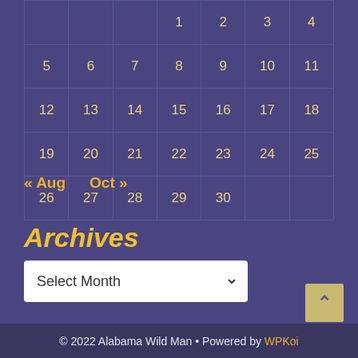|  |  |  | 1 | 2 | 3 | 4 |
| 5 | 6 | 7 | 8 | 9 | 10 | 11 |
| 12 | 13 | 14 | 15 | 16 | 17 | 18 |
| 19 | 20 | 21 | 22 | 23 | 24 | 25 |
| 26 | 27 | 28 | 29 | 30 |  |  |
« Aug   Oct »
Archives
Select Month
© 2022 Alabama Wild Man • Powered by WPKoi